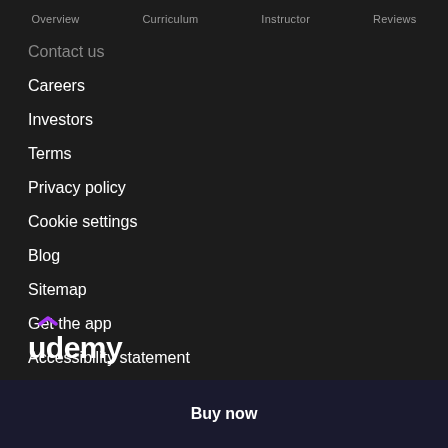Overview  Curriculum  Instructor  Reviews
Contact us
Careers
Investors
Terms
Privacy policy
Cookie settings
Blog
Sitemap
Get the app
Accessibility statement
[Figure (logo): Udemy logo with purple chevron accent above the 'u']
Buy now